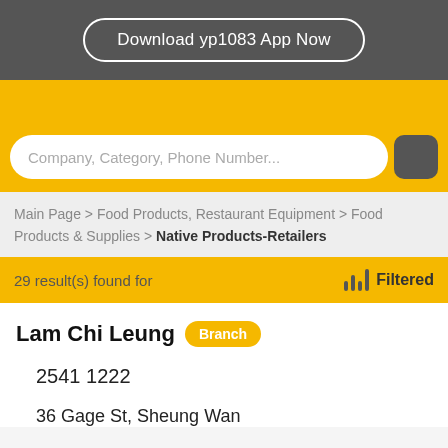Download yp1083 App Now
Company, Category, Phone Number...
Main Page > Food Products, Restaurant Equipment > Food Products & Supplies > Native Products-Retailers
29 result(s) found for   Filtered
Lam Chi Leung Branch
2541 1222
36 Gage St, Sheung Wan